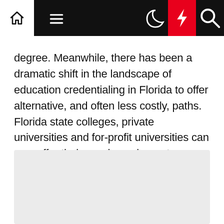[Navigation bar with home, menu, moon, lightning, search icons]
degree. Meanwhile, there has been a dramatic shift in the landscape of education credentialing in Florida to offer alternative, and often less costly, paths. Florida state colleges, private universities and for-profit universities can now offer their own baccalaureate degrees in education, some at a significantly lower cost. Also, Educator Preparation Institutes are delivering alternative teacher certification programs, in partnership with Florida state colleges and school districts, for college graduates without education degrees.
[Figure (other): Gray placeholder rectangle below the text block]